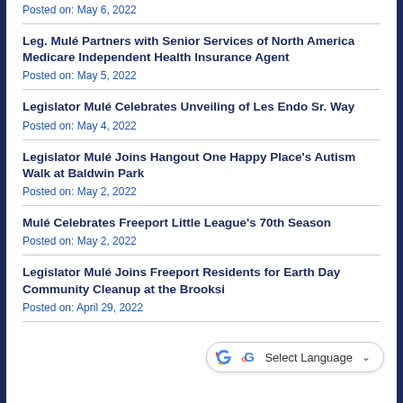Posted on: May 6, 2022
Leg. Mulé Partners with Senior Services of North America Medicare Independent Health Insurance Agent
Posted on: May 5, 2022
Legislator Mulé Celebrates Unveiling of Les Endo Sr. Way
Posted on: May 4, 2022
Legislator Mulé Joins Hangout One Happy Place's Autism Walk at Baldwin Park
Posted on: May 2, 2022
Mulé Celebrates Freeport Little League's 70th Season
Posted on: May 2, 2022
Legislator Mulé Joins Freeport Residents for Earth Day Community Cleanup at the Brooksi…
Posted on: April 29, 2022